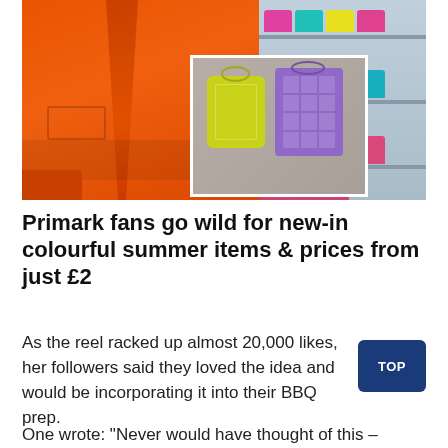[Figure (photo): Collage of Primark summer items: orange blazer on left, colorful handbags (yellow and purple) in center overlay, shelves of colorful sandals on right]
Primark fans go wild for new-in colourful summer items & prices from just £2
As the reel racked up almost 20,000 likes, her followers said they loved the idea and would be incorporating it into their BBQ prep.
One wrote: "Never would have thought of this –